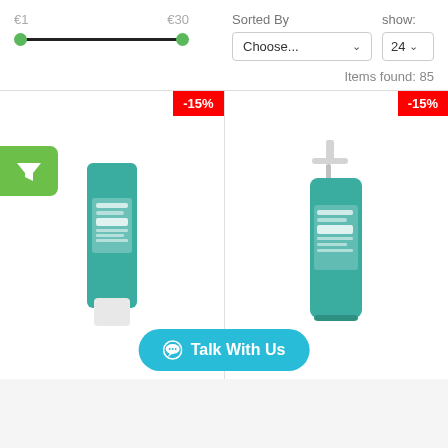€1   €30
Sorted By
show:
Choose...
24
Items found: 85
-15%
[Figure (photo): La Roche-Posay Effaclar gel cleanser tube in teal]
-15%
[Figure (photo): La Roche-Posay Effaclar pump bottle in teal]
Talk With Us